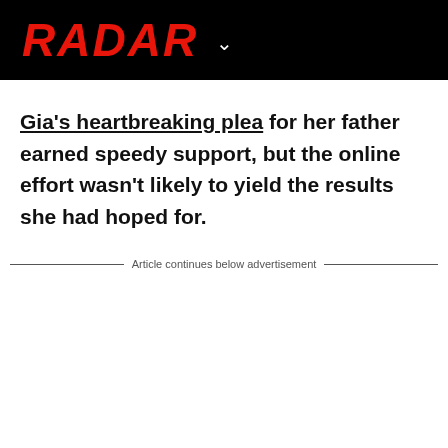RADAR
Gia's heartbreaking plea for her father earned speedy support, but the online effort wasn't likely to yield the results she had hoped for.
Article continues below advertisement